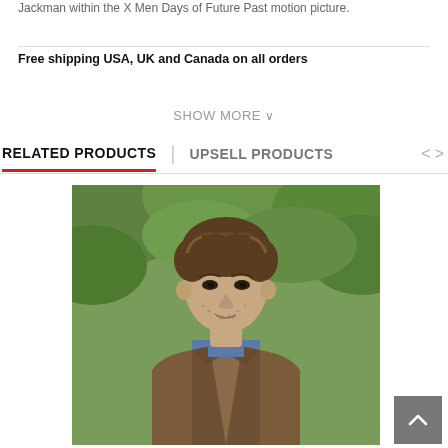Jackman within the X Men Days of Future Past motion picture.
Free shipping USA, UK and Canada on all orders
SHOW MORE ∨
RELATED PRODUCTS | UPSELL PRODUCTS < >
[Figure (photo): A man with dark wavy hair and stubble beard wearing a brown leather jacket over a blue shirt, standing outdoors with green foliage in the background. Resembles Hugh Jackman as Wolverine/Logan from X-Men Days of Future Past.]